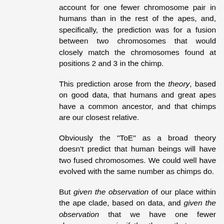account for one fewer chromosome pair in humans than in the rest of the apes, and, specifically, the prediction was for a fusion between two chromosomes that would closely match the chromosomes found at positions 2 and 3 in the chimp.
This prediction arose from the theory, based on good data, that humans and great apes have a common ancestor, and that chimps are our closest relative.
Obviously the "ToE" as a broad theory doesn't predict that human beings will have two fused chromosomes. We could well have evolved with the same number as chimps do.
But given the observation of our place within the ape clade, based on data, and given the observation that we have one fewer chromosome pair, if the theory that we are related to chimps is correct, we should see one of our chromosomes